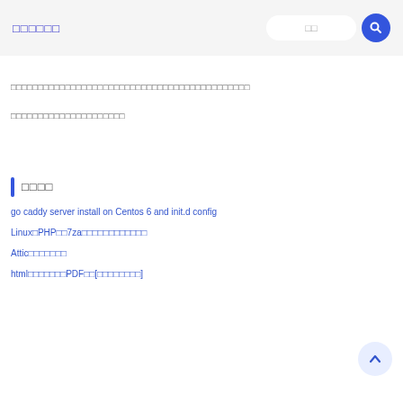□□□□□□
□□□□□□□□□□□□□□□□□□□□□□□□□□□□□□□□□□□□□□□□□□□□
□□□□□□□□□□□□□□□□□□□□□
□□□□
go caddy server install on Centos 6 and init.d config
Linux□PHP□□7za□□□□□□□□□□□□
Attic□□□□□□□
html□□□□□□□PDF□□[□□□□□□□□]